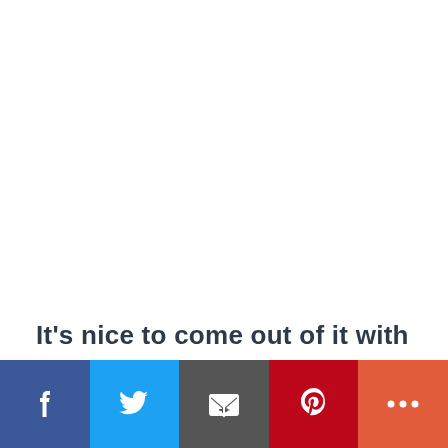It’s nice to come out of it with something you can show off, too.
[Figure (other): Social sharing bar with Facebook, Twitter, Email, Pinterest, and More buttons]